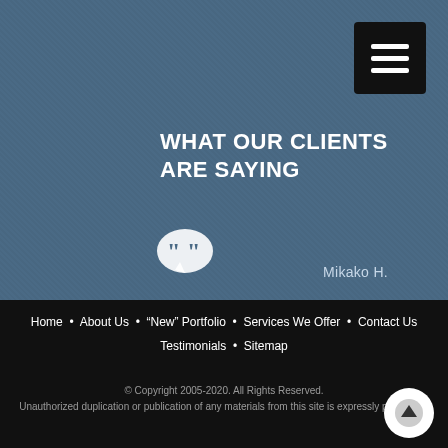[Figure (screenshot): Hamburger menu button (three horizontal lines) on dark background, top right corner]
WHAT OUR CLIENTS ARE SAYING
[Figure (illustration): White speech bubble icon with quotation marks]
Great job, I will definitely be ordering again! We have no regrets!
Mikako H.
Home  About Us  "New" Portfolio  Services We Offer  Contact Us  Testimonials  Sitemap
© Copyright 2005-2020. All Rights Reserved.
Unauthorized duplication or publication of any materials from this site is expressly prohibited.